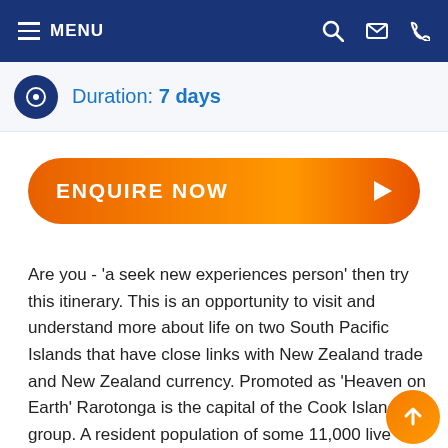MENU
Duration: 7 days
ENQUIRE NOW
Are you - 'a seek new experiences person' then try this itinerary. This is an opportunity to visit and understand more about life on two South Pacific Islands that have close links with New Zealand trade and New Zealand currency. Promoted as 'Heaven on Earth' Rarotonga is the capital of the Cook Islands group. A resident population of some 11,000 live within the 15 islands that make up their Nation and about 8,000 are based in Rarotonga it is mountainous, palm fringed with white beaches in a rubbish free, relaxed laid-back environment. Activities abound, snorkeling, wind surfing, deep-sea fishing, cross mountain hiking, local